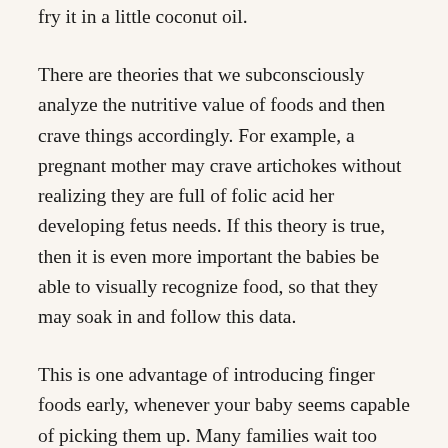fry it in a little coconut oil.
There are theories that we subconsciously analyze the nutritive value of foods and then crave things accordingly. For example, a pregnant mother may crave artichokes without realizing they are full of folic acid her developing fetus needs. If this theory is true, then it is even more important the babies be able to visually recognize food, so that they may soak in and follow this data.
This is one advantage of introducing finger foods early, whenever your baby seems capable of picking them up. Many families wait too long to introduce finger foods, which you can safely do with most babies shortly after starting solids. Letting a child pick up and eat their own food gives them